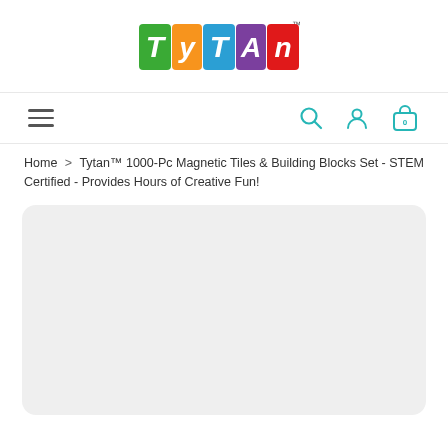[Figure (logo): Tytan colorful logo with letters T Y T A N in green, orange, blue, purple, and red blocks with TM mark]
≡  🔍  👤  🛍 0
Home > Tytan™ 1000-Pc Magnetic Tiles & Building Blocks Set - STEM Certified - Provides Hours of Creative Fun!
[Figure (photo): Light gray placeholder rectangle for product image]